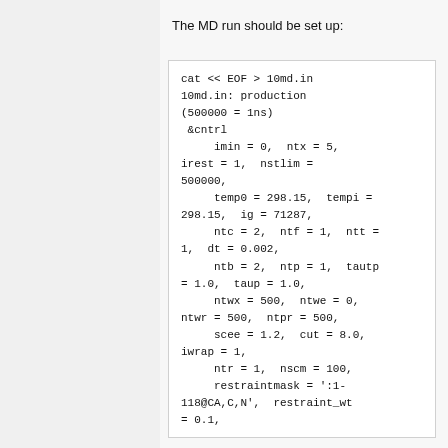The MD run should be set up:
cat << EOF > 10md.in
10md.in: production
(500000 = 1ns)
 &cntrl
     imin = 0, ntx = 5,
irest = 1,  nstlim =
500000,
     temp0 = 298.15,  tempi =
298.15,  ig = 71287,
     ntc = 2,  ntf = 1,  ntt =
1,  dt = 0.002,
     ntb = 2,  ntp = 1,  tautp
= 1.0,  taup = 1.0,
     ntwx = 500,  ntwe = 0,
ntwr = 500,  ntpr = 500,
     scee = 1.2,  cut = 8.0,
iwrap = 1,
     ntr = 1,  nscm = 100,
     restraintmask = ':1-
118@CA,C,N',  restraint_wt
= 0.1,